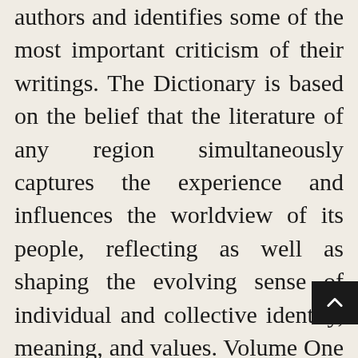authors and identifies some of the most important criticism of their writings. The Dictionary is based on the belief that the literature of any region simultaneously captures the experience and influences the worldview of its people, reflecting as well as shaping the evolving sense of individual and collective identity, meaning, and values. Volume One presents individual lives and literary orientations and offers a broad survey of the Midwestern experience as expressed by its many diverse peoples over time.Philip A. Greasley's introduction fills in background information and describes philosophy, focus, methodology, content, and layout of entries, as well as criteria for